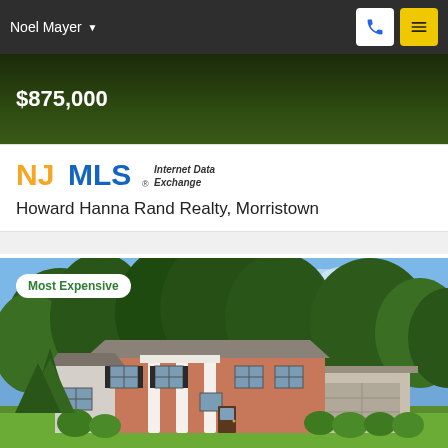Noel Mayer
$875,000
[Figure (logo): NJMLS Internet Data Exchange logo]
Howard Hanna Rand Realty, Morristown
[Figure (photo): Two-story brick colonial house with white columns, attached garage, green trees and blue sky background. Badge reads Most Expensive.]